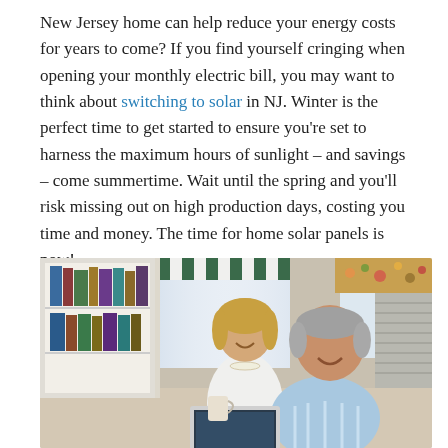New Jersey home can help reduce your energy costs for years to come? If you find yourself cringing when opening your monthly electric bill, you may want to think about switching to solar in NJ. Winter is the perfect time to get started to ensure you're set to harness the maximum hours of sunlight – and savings – come summertime. Wait until the spring and you'll risk missing out on high production days, costing you time and money. The time for home solar panels is now!
[Figure (photo): An older couple smiling and looking at a laptop together in a bright kitchen/living room setting with bookshelves and windows in the background.]